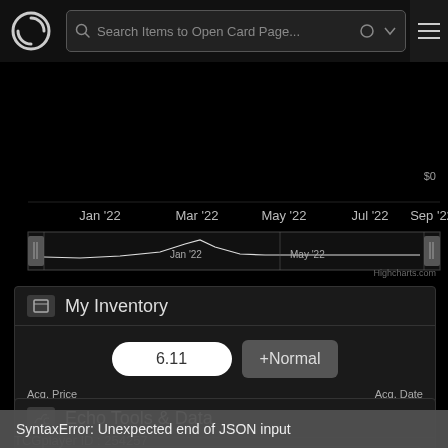Search Items to Open Card Page...
[Figure (continuous-plot): Price history line chart showing data from Jan 2022 to Sep 2022 with navigation range selector. X-axis labels: Jan '22, Mar '22, May '22, Jul '22, Sep '22. Y-axis shows $0. Lower navigator shows Jan '22 and May '22.]
My Inventory
6.11
+ Normal
Acq. Price
Acq. Date
Total (0)
$0
Echo Tools & Data
Add to Watchlist
EchoMTG ID (EMID) : 132451
SyntaxError: Unexpected end of JSON input
TCGplayer ID : 254257